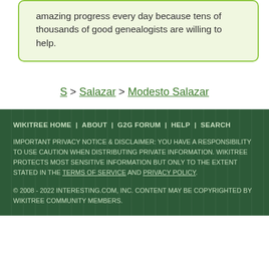amazing progress every day because tens of thousands of good genealogists are willing to help.
S > Salazar > Modesto Salazar
WIKITREE HOME | ABOUT | G2G FORUM | HELP | SEARCH
IMPORTANT PRIVACY NOTICE & DISCLAIMER: YOU HAVE A RESPONSIBILITY TO USE CAUTION WHEN DISTRIBUTING PRIVATE INFORMATION. WIKITREE PROTECTS MOST SENSITIVE INFORMATION BUT ONLY TO THE EXTENT STATED IN THE TERMS OF SERVICE AND PRIVACY POLICY.
© 2008 - 2022 INTERESTING.COM, INC. CONTENT MAY BE COPYRIGHTED BY WIKITREE COMMUNITY MEMBERS.